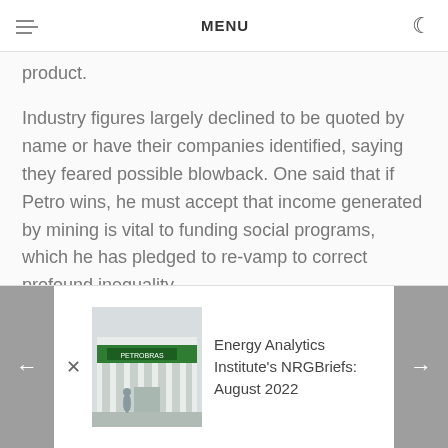MENU
product.
Industry figures largely declined to be quoted by name or have their companies identified, saying they feared possible blowback. One said that if Petro wins, he must accept that income generated by mining is vital to funding social programs, which he has pledged to re-vamp to correct profound inequality.
"He'll be a little more aware of how necessary the
[Figure (photo): Petrobras building exterior with green signage]
Energy Analytics Institute's NRGBriefs: August 2022